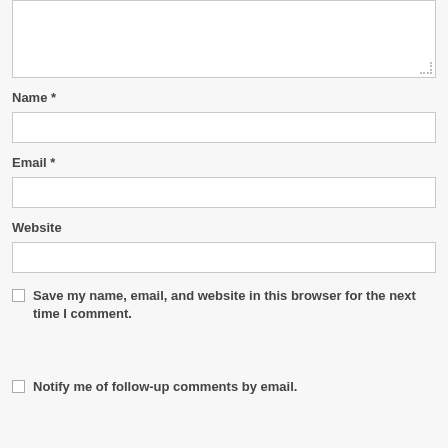[Figure (screenshot): Textarea input box at top of page, partially visible, with resize handle at bottom right]
Name *
[Figure (screenshot): Name text input field, empty, with border]
Email *
[Figure (screenshot): Email text input field, empty, with border]
Website
[Figure (screenshot): Website text input field, empty, with border]
Save my name, email, and website in this browser for the next time I comment.
Notify me of follow-up comments by email.